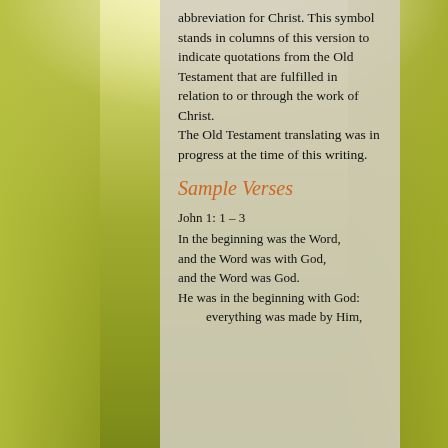abbreviation for Christ. This symbol stands in columns of this version to indicate quotations from the Old Testament that are fulfilled in relation to or through the work of Christ.
The Old Testament translating was in progress at the time of this writing.
Sample Verses
John 1: 1 – 3
In the beginning was the Word,
and the Word was with God,
and the Word was God.
He was in the beginning with God:
    everything was made by Him,